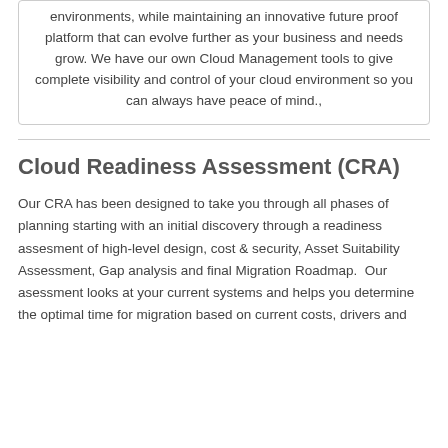environments, while maintaining an innovative future proof platform that can evolve further as your business and needs grow. We have our own Cloud Management tools to give complete visibility and control of your cloud environment so you can always have peace of mind.,
Cloud Readiness Assessment (CRA)
Our CRA has been designed to take you through all phases of planning starting with an initial discovery through a readiness assesment of high-level design, cost & security, Asset Suitability Assessment, Gap analysis and final Migration Roadmap.  Our asessment looks at your current systems and helps you determine the optimal time for migration based on current costs, drivers and